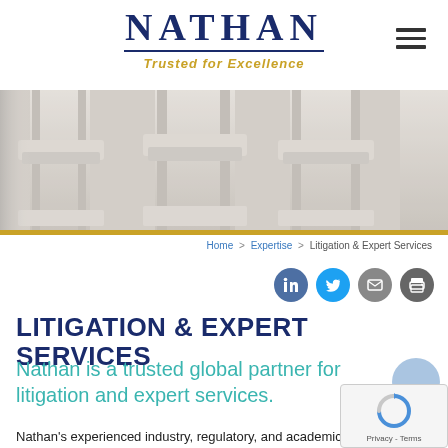[Figure (logo): Nathan logo with 'NATHAN' in large dark blue serif font, a horizontal underline, and 'Trusted for Excellence' tagline in gold italic below]
[Figure (photo): Close-up of white marble classical columns, hero banner image]
Home > Expertise > Litigation & Expert Services
[Figure (infographic): Four circular social sharing icons: LinkedIn (blue), Twitter (light blue), Email (grey), Print (dark grey)]
LITIGATION & EXPERT SERVICES
Nathan is a trusted global partner for litigation and expert services.
Nathan's experienced industry, regulatory, and academic